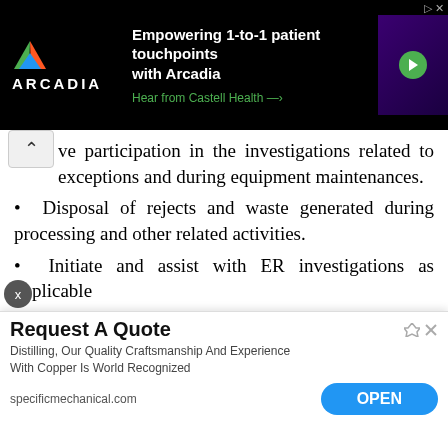[Figure (other): Arcadia advertisement banner: dark background with Arcadia logo (triangle icon), text 'Empowering 1-to-1 patient touchpoints with Arcadia', 'Hear from Castell Health →' in green, and a person photo with play button]
ve participation in the investigations related to exceptions and during equipment maintenances.
• Disposal of rejects and waste generated during processing and other related activities.
• Initiate and assist with ER investigations as applicable
• Monitor assigned area for compliance to SOPs and cGMP
• Adherence to safety procedures/GMP & GDP practices
• Prep[are...] [rela]ted to excep[tions...]
• Rais[e...] ent of
[Figure (other): Request A Quote advertisement: 'Distilling, Our Quality Craftsmanship And Experience With Copper Is World Recognized', specificmechanical.com, OPEN button]